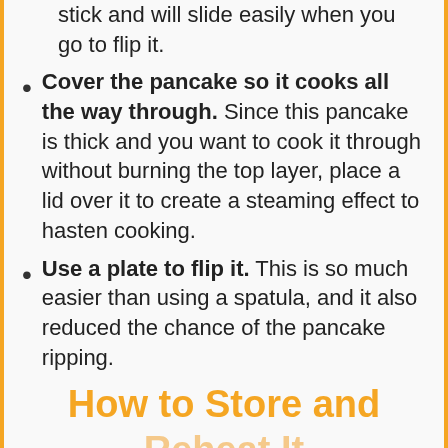stick and will slide easily when you go to flip it.
Cover the pancake so it cooks all the way through. Since this pancake is thick and you want to cook it through without burning the top layer, place a lid over it to create a steaming effect to hasten cooking.
Use a plate to flip it. This is so much easier than using a spatula, and it also reduced the chance of the pancake ripping.
How to Store and
Reheat It